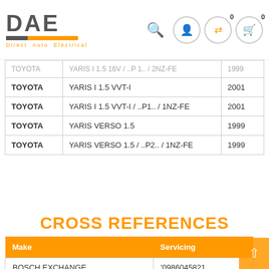[Figure (logo): DAE Direct Auto Electrical logo with orange diagonal bar and tagline]
| Make | Model | Year |
| --- | --- | --- |
| TOYOTA | YARIS I 1.5 16V / ..P 1.. / 2NZ-FE | 1999 |
| TOYOTA | YARIS I 1.5 VVT-I | 2001 |
| TOYOTA | YARIS I 1.5 VVT-I / ..P1.. / 1NZ-FE | 2001 |
| TOYOTA | YARIS VERSO 1.5 | 1999 |
| TOYOTA | YARIS VERSO 1.5 / ..P2.. / 1NZ-FE | 1999 |
CROSS REFERENCES
| Make | Servicing |
| --- | --- |
| BOSCH EXCHANGE | '0986045821 |
| DELCO EXCHANGE | 'DRB5821 |